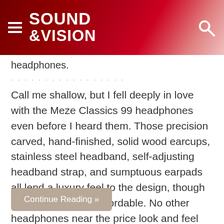SOUND &VISION
headphones.
· · · · · · · · · · · · · · · · ·
Call me shallow, but I fell deeply in love with the Meze Classics 99 headphones even before I heard them. Those precision carved, hand-finished, solid wood earcups, stainless steel headband, self-adjusting headband strap, and sumptuous earpads all lend a luxury feel to the design, though the price is solidly affordable. No other headphones near the price look and feel like the 99 Classics.
Continue Reading »